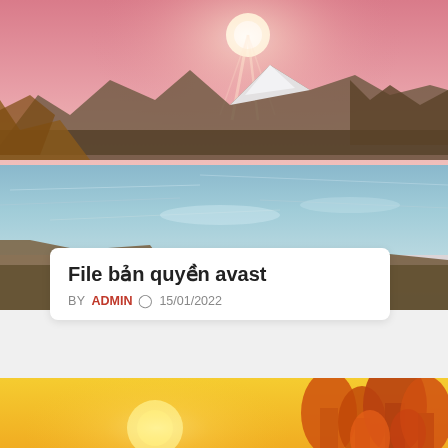[Figure (photo): Mountain landscape with snow-capped peaks, frozen/icy blue lake in foreground, autumn foliage on hillsides, dramatic pink-red sky with bright sunburst light rays]
File bản quyền avast
BY ADMIN  🕐 15/01/2022
[Figure (photo): Autumn landscape at sunset with golden-orange sky, orange and red foliage trees on right side, rocky cliff in lower left, misty valley and distant mountains]